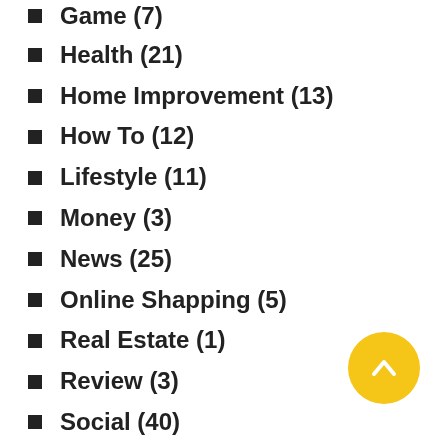Game (7)
Health (21)
Home Improvement (13)
How To (12)
Lifestyle (11)
Money (3)
News (25)
Online Shapping (5)
Real Estate (1)
Review (3)
Social (40)
Software (2)
Sports (4)
Technology (18)